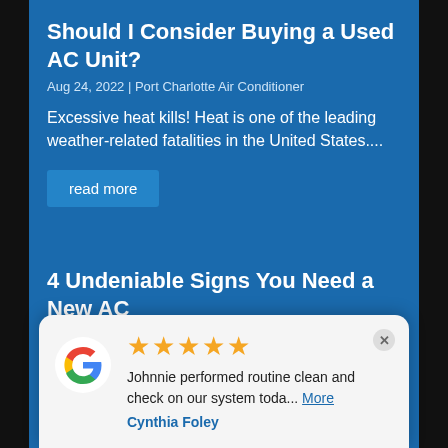Should I Consider Buying a Used AC Unit?
Aug 24, 2022 | Port Charlotte Air Conditioner
Excessive heat kills! Heat is one of the leading weather-related fatalities in the United States....
read more
4 Undeniable Signs You Need a New AC
Aug 17, 2022 | Port Charlotte Air Conditioner
Air conditioning is a big part of our lives. In fact, three-quarters of American homes have air...
read more
[Figure (logo): Google logo colored G]
★★★★★ Johnnie performed routine clean and check on our system toda... More
Cynthia Foley